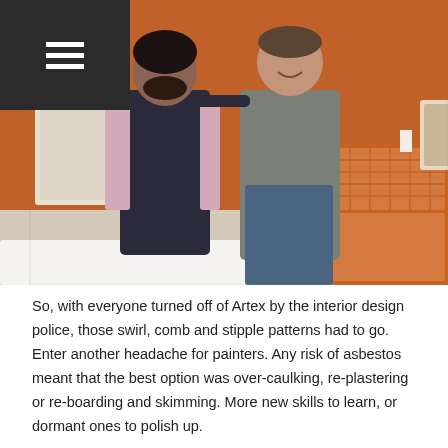☰
[Figure (photo): Two men standing together in a bedroom with an orange accent wall. The man on the left wears a dark vest over a pink shirt, the man on the right wears a grey Superdry t-shirt and jeans. Behind them is an orange dresser with a framed photo and a candle on top.]
So, with everyone turned off of Artex by the interior design police, those swirl, comb and stipple patterns had to go. Enter another headache for painters. Any risk of asbestos meant that the best option was over-caulking, re-plastering or re-boarding and skimming. More new skills to learn, or dormant ones to polish up.
Artex to remove lime wash